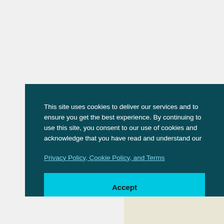This site uses cookies to deliver our services and to ensure you get the best experience. By continuing to use this site, you consent to our use of cookies and acknowledge that you have read and understand our
Privacy Policy, Cookie Policy, and Terms
Accept